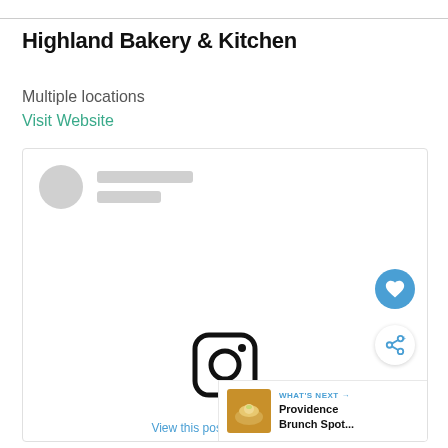Highland Bakery & Kitchen
Multiple locations
Visit Website
[Figure (screenshot): Embedded Instagram post card showing a profile placeholder with avatar circle and two grey loading bars, an Instagram camera icon in the center, and a 'View this post on Instagram' link at the bottom. Overlaid are a blue heart/like button and a share button on the right side, plus a 'What's Next: Providence Brunch Spot...' panel in the bottom-right corner with a food thumbnail image.]